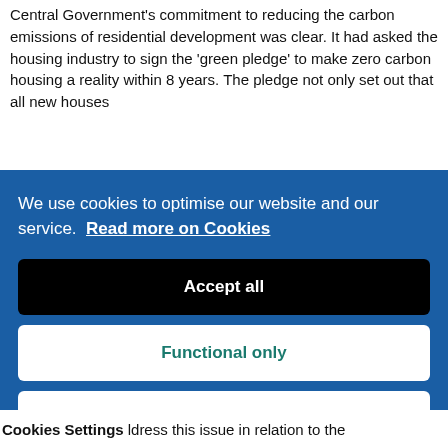Central Government's commitment to reducing the carbon emissions of residential development was clear. It had asked the housing industry to sign the 'green pledge' to make zero carbon housing a reality within 8 years. The pledge not only set out that all new houses
We use cookies to optimise our website and our service.  Read more on Cookies
Accept all
Functional only
Cookies preferences
Cookies Settings
ldress this issue in relation to the